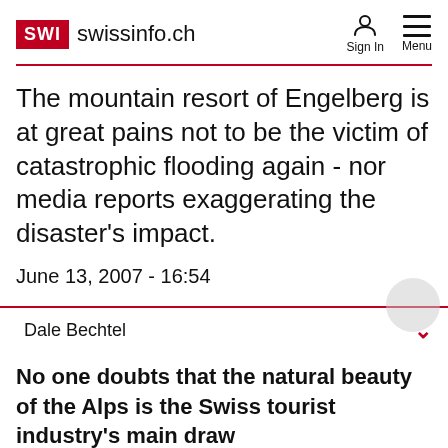SWI swissinfo.ch
The mountain resort of Engelberg is at great pains not to be the victim of catastrophic flooding again - nor media reports exaggerating the disaster's impact.
June 13, 2007 - 16:54
Dale Bechtel
No one doubts that the natural beauty of the Alps is the Swiss tourist industry's main draw card, but nature can turn ugly - as it did in August 2005 when flooding cut Engelberg off from the rest of the world.
SWI swissinfo.ch - a branch of Swiss Broadcasting Corporation SRG SSR